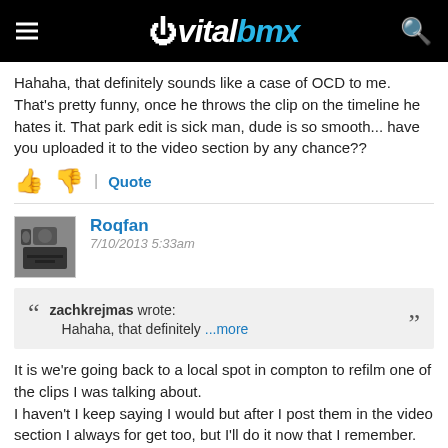vitalbmx
Hahaha, that definitely sounds like a case of OCD to me. That's pretty funny, once he throws the clip on the timeline he hates it. That park edit is sick man, dude is so smooth... have you uploaded it to the video section by any chance??
Roqfan
7/10/2013 5:33am
zachkrejmas wrote:
Hahaha, that definitely ...more
It is we're going back to a local spot in compton to refilm one of the clips I was talking about.
I haven't I keep saying I would but after I post them in the video section I always for get too, but I'll do it now that I remember.